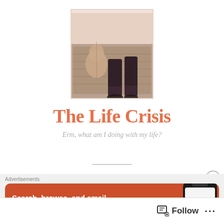[Figure (photo): A person lying on a patterned rug holding a guitar, photo in muted warm tones]
The Life Crisis
Erm, what am I doing with my life?
[Figure (screenshot): DuckDuckGo advertisement banner: 'Search, browse, and email with more privacy.' with phone mockup showing DuckDuckGo logo]
Advertisements
Follow
...